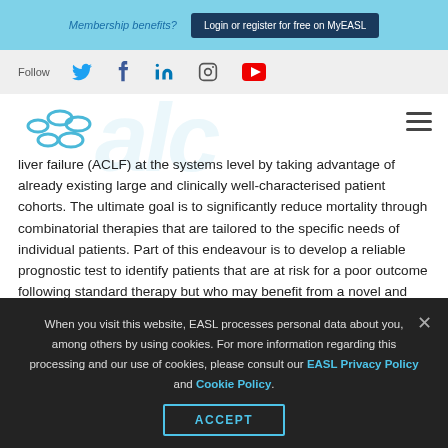Membership benefits?  Login or register for free on MyEASL
Follow [Twitter] [Facebook] [LinkedIn] [Instagram] [YouTube]
[Figure (logo): EASL logo - blue hexagonal shapes]
liver failure (ACLF) at the systems level by taking advantage of already existing large and clinically well-characterised patient cohorts. The ultimate goal is to significantly reduce mortality through combinatorial therapies that are tailored to the specific needs of individual patients. Part of this endeavour is to develop a reliable prognostic test to identify patients that are at risk for a poor outcome following standard therapy but who may benefit from a novel and personalised combinatorial therapy; and a robust
When you visit this website, EASL processes personal data about you, among others by using cookies. For more information regarding this processing and our use of cookies, please consult our EASL Privacy Policy and Cookie Policy.